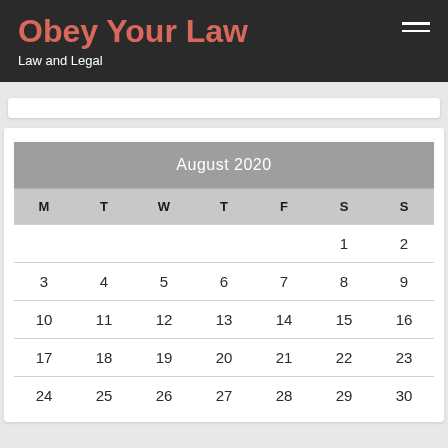Obey Your Law — Law and Legal
| M | T | W | T | F | S | S |
| --- | --- | --- | --- | --- | --- | --- |
|  |  |  |  |  | 1 | 2 |
| 3 | 4 | 5 | 6 | 7 | 8 | 9 |
| 10 | 11 | 12 | 13 | 14 | 15 | 16 |
| 17 | 18 | 19 | 20 | 21 | 22 | 23 |
| 24 | 25 | 26 | 27 | 28 | 29 | 30 |